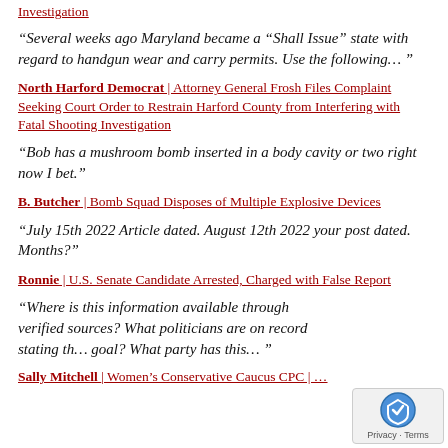Investigation
“Several weeks ago Maryland became a "Shall Issue" state with regard to handgun wear and carry permits. Use the following… ”
North Harford Democrat | Attorney General Frosh Files Complaint Seeking Court Order to Restrain Harford County from Interfering with Fatal Shooting Investigation
“Bob has a mushroom bomb inserted in a body cavity or two right now I bet.”
B. Butcher | Bomb Squad Disposes of Multiple Explosive Devices
“July 15th 2022 Article dated. August 12th 2022 your post dated. Months?”
Ronnie | U.S. Senate Candidate Arrested, Charged with False Report
“Where is this information available through verified sources? What politicians are on record stating th… goal? What party has this… ”
Sally Mitchell | Women’s Conservative Caucus CPC | …